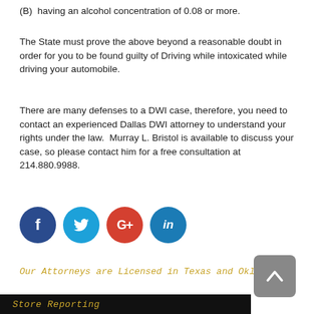(B)  having an alcohol concentration of 0.08 or more.
The State must prove the above beyond a reasonable doubt in order for you to be found guilty of Driving while intoxicated while driving your automobile.
There are many defenses to a DWI case, therefore, you need to contact an experienced Dallas DWI attorney to understand your rights under the law.  Murray L. Bristol is available to discuss your case, so please contact him for a free consultation at 214.880.9988.
[Figure (infographic): Four social media icons: Facebook (dark blue), Twitter (light blue), Google+ (red-orange), LinkedIn (blue)]
Our Attorneys are Licensed in Texas and Oklahoma!
[Figure (other): Scroll-to-top button, gray rounded rectangle with upward caret arrow]